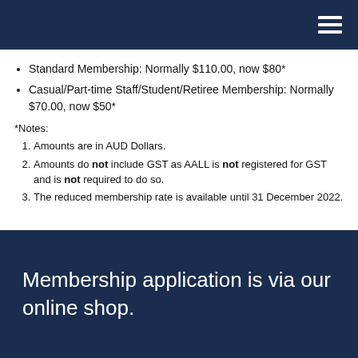Standard Membership: Normally $110.00, now $80*
Casual/Part-time Staff/Student/Retiree Membership: Normally $70.00, now $50*
*Notes:
Amounts are in AUD Dollars.
Amounts do not include GST as AALL is not registered for GST and is not required to do so.
The reduced membership rate is available until 31 December 2022.
Membership application is via our online shop.